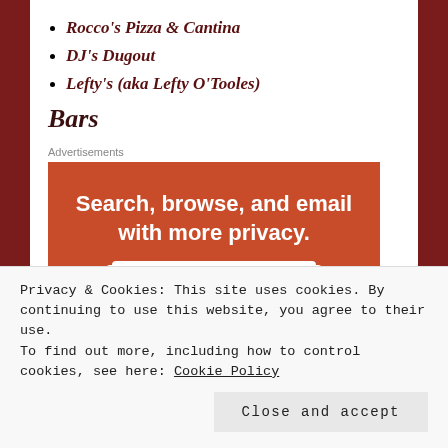Rocco's Pizza & Cantina
DJ's Dugout
Lefty's (aka Lefty O'Tooles)
Bars
Advertisements
[Figure (screenshot): Advertisement for a privacy-focused all-in-one app showing 'Search, browse, and email with more privacy. All in One Free App' with an image of a smartphone on an orange-red background.]
Privacy & Cookies: This site uses cookies. By continuing to use this website, you agree to their use.
To find out more, including how to control cookies, see here: Cookie Policy
Close and accept